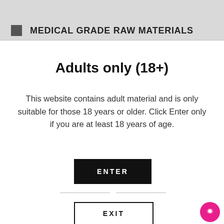MEDICAL GRADE RAW MATERIALS
Adults only (18+)
This website contains adult material and is only suitable for those 18 years or older. Click Enter only if you are at least 18 years of age.
ENTER
EXIT